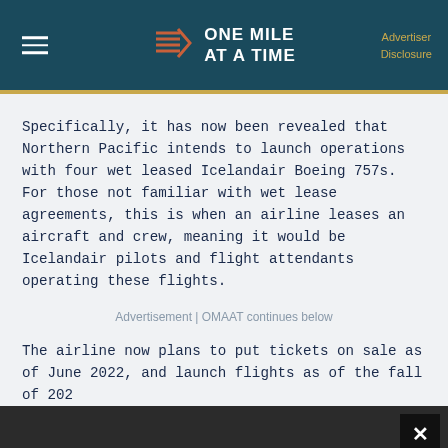ONE MILE AT A TIME | Advertiser Disclosure
Specifically, it has now been revealed that Northern Pacific intends to launch operations with four wet leased Icelandair Boeing 757s. For those not familiar with wet lease agreements, this is when an airline leases an aircraft and crew, meaning it would be Icelandair pilots and flight attendants operating these flights.
Advertisement | OMAAT continues below
The airline now plans to put tickets on sale as of June 2022, and launch flights as of the fall of 202